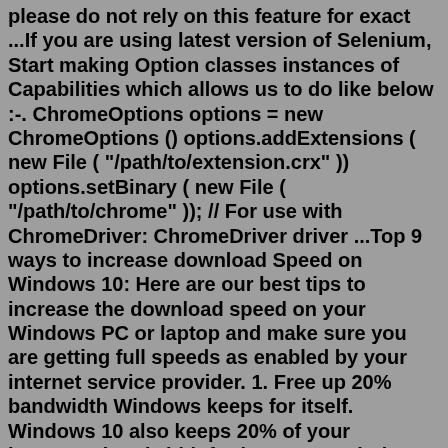please do not rely on this feature for exact ...If you are using latest version of Selenium, Start making Option classes instances of Capabilities which allows us to do like below :-. ChromeOptions options = new ChromeOptions () options.addExtensions ( new File ( "/path/to/extension.crx" )) options.setBinary ( new File ( "/path/to/chrome" )); // For use with ChromeDriver: ChromeDriver driver ...Top 9 ways to increase download Speed on Windows 10: Here are our best tips to increase the download speed on your Windows PC or laptop and make sure you are getting full speeds as enabled by your internet service provider. 1. Free up 20% bandwidth Windows keeps for itself. Windows 10 also keeps 20% of your internet's bandwidth for its own ...Solution 7: Reinstall Chrome. As a last resort, if all other fixes fail, you can try performing a clean reinstall of the Google Chrome browser. This will also help you in case you have a corrupt Chrome installation. A fresh install will reset all the broken files and settings, and form the data libraries again.How to Limit Download